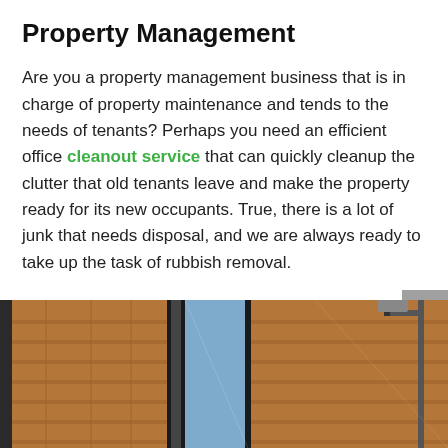Property Management
Are you a property management business that is in charge of property maintenance and tends to the needs of tenants? Perhaps you need an efficient office cleanout service that can quickly cleanup the clutter that old tenants leave and make the property ready for its new occupants. True, there is a lot of junk that needs disposal, and we are always ready to take up the task of rubbish removal.
[Figure (photo): Photo strip showing building exterior with brick walls, large windows, metal railing/pole, and sky — multiple panels side by side]